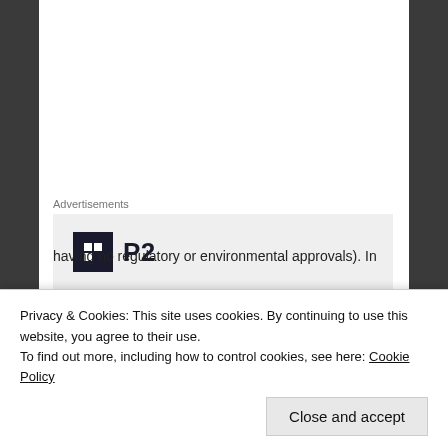Advertisements
[Figure (other): Advertisement banner for P2 with logo and headline: Getting your team on the same page is easy. And free.]
At the provincial level, we have the BC government
Privacy & Cookies: This site uses cookies. By continuing to use this website, you agree to their use.
To find out more, including how to control cookies, see here: Cookie Policy
Close and accept
having no regulatory or environmental approvals). In